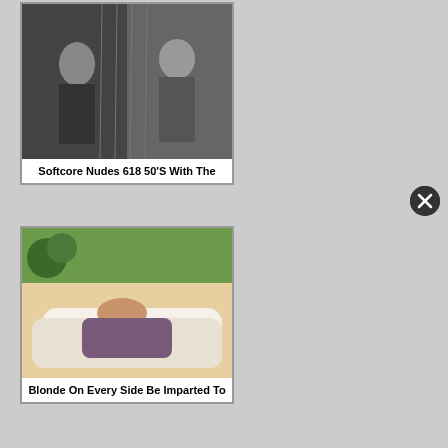[Figure (photo): Black and white vintage photo of two women in lingerie sitting on a floor]
Softcore Nudes 618 50'S With The
[Figure (photo): Color photo of a woman with long hair on a white couch]
Blonde On Every Side Be Imparted To